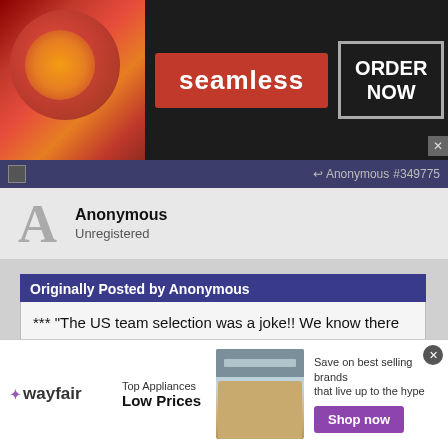[Figure (screenshot): Seamless food delivery advertisement banner with pizza image, red Seamless logo, and ORDER NOW button]
Anonymous #349775
Anonymous
Unregistered
Originally Posted by Anonymous
*** "The US team selection was a joke!! We know there was politics involved in those!! To bring that up as an example is dopey!" ***
*** "Correction.... UA team" ***
[Figure (screenshot): Wayfair advertisement: Top Appliances Low Prices, Save on best selling brands that live up to the hype, Shop now button]